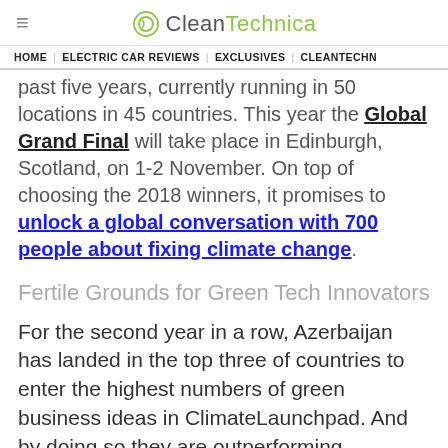≡  CleanTechnica
HOME | ELECTRIC CAR REVIEWS | EXCLUSIVES | CLEANTECHN…
past five years, currently running in 50 locations in 45 countries. This year the Global Grand Final will take place in Edinburgh, Scotland, on 1-2 November. On top of choosing the 2018 winners, it promises to unlock a global conversation with 700 people about fixing climate change.
Fertile Grounds for Green Tech Innovators
For the second year in a row, Azerbaijan has landed in the top three of countries to enter the highest numbers of green business ideas in ClimateLaunchpad. And by doing so they are outperforming countries like England,